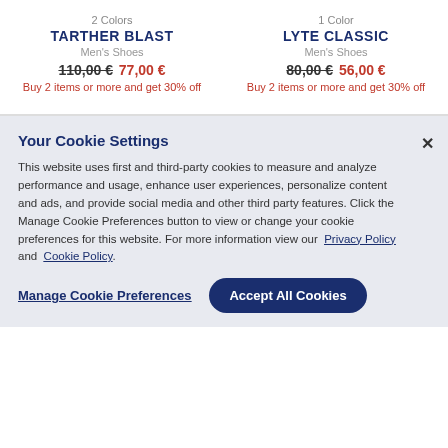2 Colors
TARTHER BLAST
Men's Shoes
110,00 € 77,00 €
Buy 2 items or more and get 30% off
1 Color
LYTE CLASSIC
Men's Shoes
80,00 € 56,00 €
Buy 2 items or more and get 30% off
Your Cookie Settings
This website uses first and third-party cookies to measure and analyze performance and usage, enhance user experiences, personalize content and ads, and provide social media and other third party features. Click the Manage Cookie Preferences button to view or change your cookie preferences for this website. For more information view our Privacy Policy and Cookie Policy.
Manage Cookie Preferences
Accept All Cookies